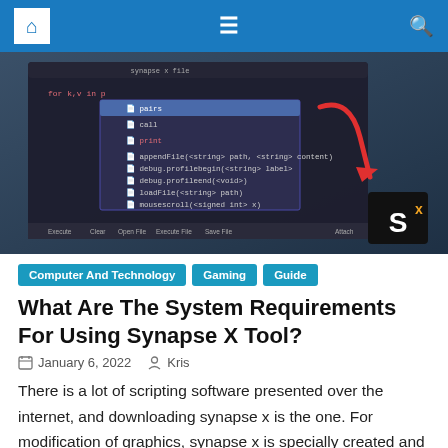Navigation bar with home, menu, and search icons
[Figure (screenshot): Screenshot of Synapse X scripting tool IDE showing code autocomplete dropdown with options like pairs, call, print, appendFile, debug.profilebegin, debug.profileend, loadFile, mousescroll, readFile. Bottom toolbar shows Execute, Clear, Open File, Execute File, Save File, Attach buttons. Red arrow points to dropdown. Synapse X logo (Sx) shown bottom right.]
Computer And Technology
Gaming
Guide
What Are The System Requirements For Using Synapse X Tool?
January 6, 2022   Kris
There is a lot of scripting software presented over the internet, and downloading synapse x is the one. For modification of graphics, synapse x is specially created and designed. Through this, creating cheats as well as changing the themes of the game will become easier for a user. On